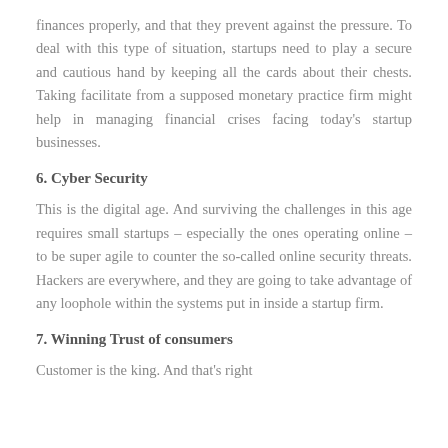finances properly, and that they prevent against the pressure. To deal with this type of situation, startups need to play a secure and cautious hand by keeping all the cards about their chests. Taking facilitate from a supposed monetary practice firm might help in managing financial crises facing today's startup businesses.
6. Cyber Security
This is the digital age. And surviving the challenges in this age requires small startups – especially the ones operating online – to be super agile to counter the so-called online security threats. Hackers are everywhere, and they are going to take advantage of any loophole within the systems put in inside a startup firm.
7. Winning Trust of consumers
Customer is the king. And that's right